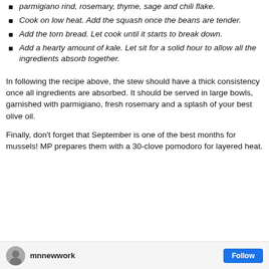parmigiano rind, rosemary, thyme, sage and chili flake.
Cook on low heat. Add the squash once the beans are tender.
Add the torn bread. Let cook until it starts to break down.
Add a hearty amount of kale. Let sit for a solid hour to allow all the ingredients absorb together.
In following the recipe above, the stew should have a thick consistency once all ingredients are absorbed. It should be served in large bowls, garnished with parmigiano, fresh rosemary and a splash of your best olive oil.
Finally, don't forget that September is one of the best months for mussels! MP prepares them with a 30-clove pomodoro for layered heat.
mnnewwork